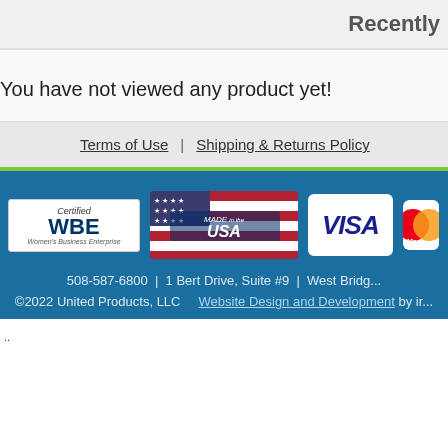Recently
You have not viewed any product yet!
Terms of Use | Shipping & Returns Policy
[Figure (logo): Certified WBE Women's Business Enterprise badge]
[Figure (logo): Made in the USA badge with American flag]
[Figure (logo): VISA payment logo]
[Figure (logo): Mastercard payment logo (partial)]
508-587-6800 | 1 Bert Drive, Suite #9 | West Bridg... ©2022 United Products, LLC Website Design and Development by ir...